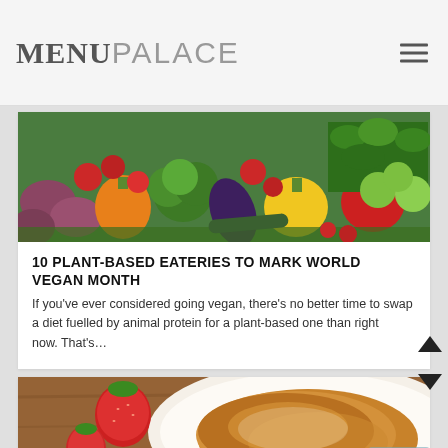MENUPALACE
[Figure (photo): Colorful fresh vegetables and fruits including peppers, tomatoes, broccoli, potatoes, eggplant, apples, and herbs arranged together]
10 PLANT-BASED EATERIES TO MARK WORLD VEGAN MONTH
If you've ever considered going vegan, there's no better time to swap a diet fuelled by animal protein for a plant-based one than right now. That's…
[Figure (photo): A plate with French toast or pancakes and fresh strawberries on a wooden surface]